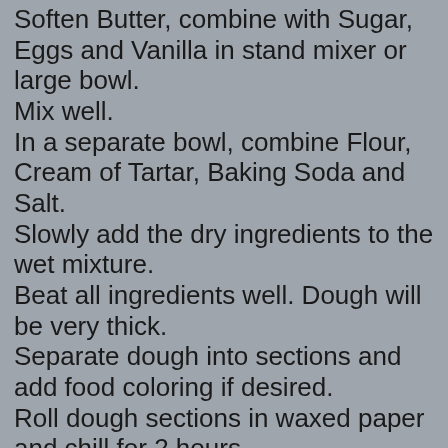Soften Butter, combine with Sugar, Eggs and Vanilla in stand mixer or large bowl.
Mix well.
In a separate bowl, combine Flour, Cream of Tartar, Baking Soda and Salt.
Slowly add the dry ingredients to the wet mixture.
Beat all ingredients well. Dough will be very thick.
Separate dough into sections and add food coloring if desired.
Roll dough sections in waxed paper and chill for 2 hours.
Ready to bake? Roll and cut out with cookie cutters. Use extra flour if needed to handle the dough. Do not over flour!
Dough should remain cool for best results. It will keep in the refrigerator for up to a week, the freezer for a month.
Bake cookies in a 350 degree oven for 8-12 minutes.
Decorate as desired.
Yield: approximately 3 dozen cookies.